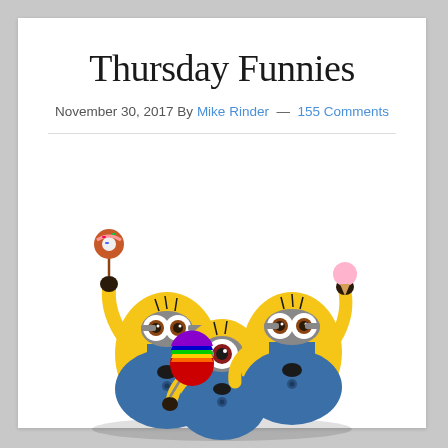Thursday Funnies
November 30, 2017 By Mike Rinder — 155 Comments
[Figure (illustration): Three yellow Minion characters from Despicable Me. The left minion has two eyes and holds a donut on a stick. The center minion is shorter with one eye and holds a rainbow-colored lollipop. The right minion has two eyes and holds a small pink ice cream. All three wear blue denim overalls.]